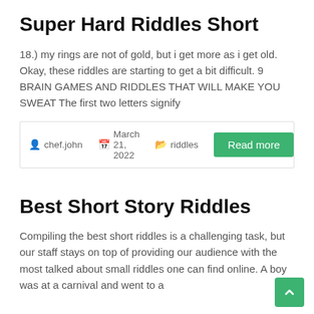Super Hard Riddles Short
18.) my rings are not of gold, but i get more as i get old. Okay, these riddles are starting to get a bit difficult. 9 BRAIN GAMES AND RIDDLES THAT WILL MAKE YOU SWEAT The first two letters signify
chef.john   March 21, 2022   riddles   Read more
Best Short Story Riddles
Compiling the best short riddles is a challenging task, but our staff stays on top of providing our audience with the most talked about small riddles one can find online. A boy was at a carnival and went to a